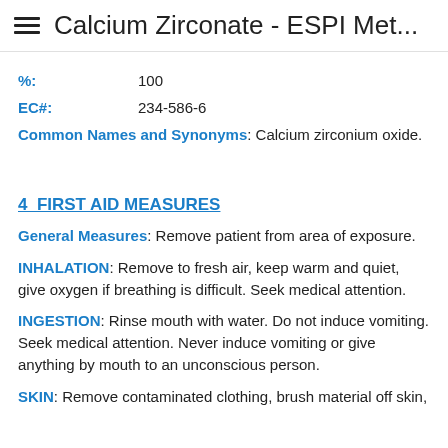Calcium Zirconate - ESPI Met...
%: 100
EC#: 234-586-6
Common Names and Synonyms: Calcium zirconium oxide.
4  FIRST AID MEASURES
General Measures: Remove patient from area of exposure.
INHALATION: Remove to fresh air, keep warm and quiet, give oxygen if breathing is difficult. Seek medical attention.
INGESTION: Rinse mouth with water. Do not induce vomiting. Seek medical attention. Never induce vomiting or give anything by mouth to an unconscious person.
SKIN: Remove contaminated clothing, brush material off skin,